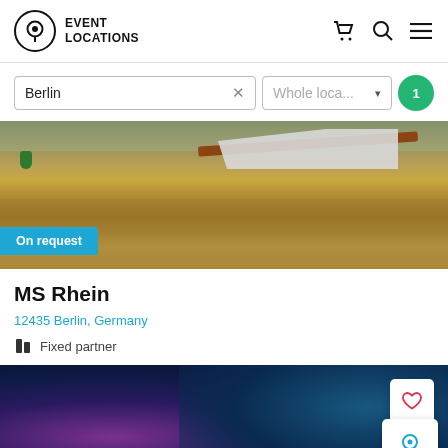EVENT LOCATIONS
Berlin  ×   Whole loca...  ▾   1
[Figure (photo): Photo of a white boat/ship on a river with turbulent brown water, with a blue 'On request' badge overlay at the bottom left]
MS Rhein
12435 Berlin, Germany
Fixed partner
[Figure (photo): Dark blue/purple gradient background image with heart icon button and map pin icon button overlaid on the right side]